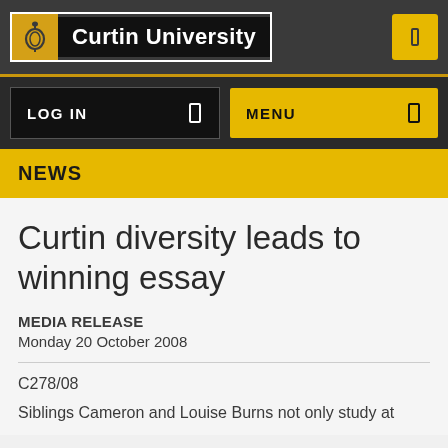Curtin University
NEWS
Curtin diversity leads to winning essay
MEDIA RELEASE
Monday 20 October 2008
C278/08
Siblings Cameron and Louise Burns not only study at